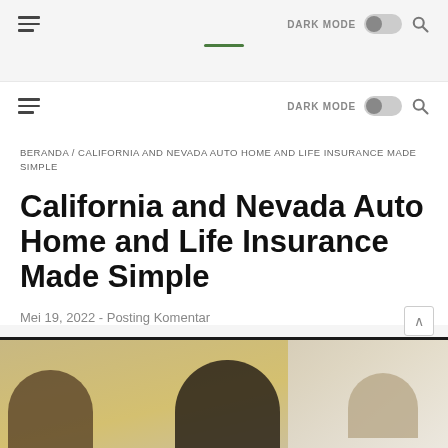DARK MODE [toggle] [search]
DARK MODE [toggle] [search]
BERANDA / CALIFORNIA AND NEVADA AUTO HOME AND LIFE INSURANCE MADE SIMPLE
California and Nevada Auto Home and Life Insurance Made Simple
Mei 19, 2022  -  Posting Komentar
[Figure (photo): Photo showing people at bottom of page, partially visible, sepia/warm toned]